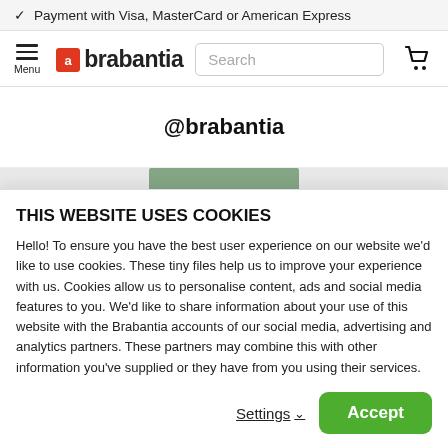✓ Payment with Visa, MasterCard or American Express
[Figure (screenshot): Brabantia website navigation bar with hamburger menu, Brabantia logo, search box, and cart icon]
@brabantia
[Figure (photo): Partial product image strip in green/grey tones]
THIS WEBSITE USES COOKIES
Hello! To ensure you have the best user experience on our website we'd like to use cookies. These tiny files help us to improve your experience with us. Cookies allow us to personalise content, ads and social media features to you. We'd like to share information about your use of this website with the Brabantia accounts of our social media, advertising and analytics partners. These partners may combine this with other information you've supplied or they have from you using their services.
Settings ∨   Accept